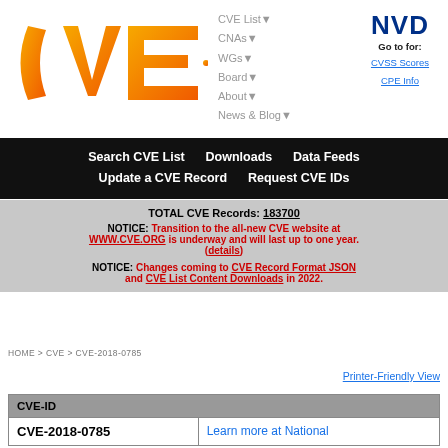[Figure (logo): CVE orange logo with circuit-board dot pattern]
CVE List▼
CNAs▼
WGs▼
Board▼
About▼
News & Blog▼
[Figure (logo): NVD logo - Go to for: CVSS Scores, CPE Info]
Search CVE List    Downloads    Data Feeds
Update a CVE Record    Request CVE IDs
TOTAL CVE Records: 183700

NOTICE: Transition to the all-new CVE website at WWW.CVE.ORG is underway and will last up to one year. (details)

NOTICE: Changes coming to CVE Record Format JSON and CVE List Content Downloads in 2022.
HOME > CVE > CVE-2018-0785
Printer-Friendly View
| CVE-ID |
| --- |
| CVE-2018-0785 | Learn more at National |